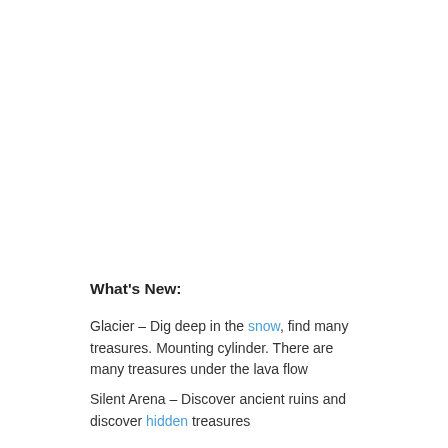What's New:
Glacier – Dig deep in the snow, find many treasures. Mounting cylinder. There are many treasures under the lava flow
Silent Arena – Discover ancient ruins and discover hidden treasures